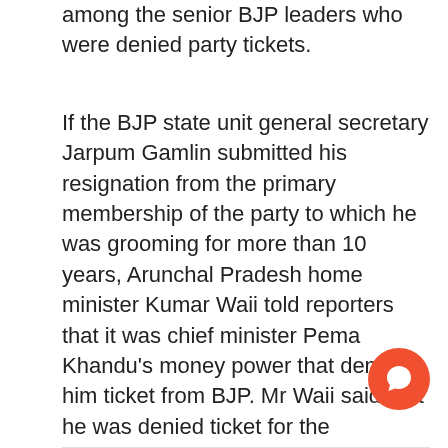among the senior BJP leaders who were denied party tickets.
If the BJP state unit general secretary Jarpum Gamlin submitted his resignation from the primary membership of the party to which he was grooming for more than 10 years, Arunchal Pradesh home minister Kumar Waii told reporters that it was chief minister Pema Khandu’s money power that denied him ticket from BJP. Mr Waii said that he was denied ticket for the upcoming assembly polls as chief minister thought him to be a contender for chief ministership.